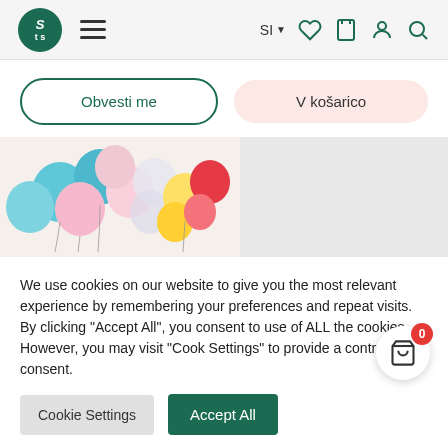STS logo, hamburger menu, SI language selector, navigation icons (heart, bag, person, search)
Obvesti me
V košarico
[Figure (photo): Colorful balloons cluster with blue, pink, white, yellow, and red balloons arranged together]
We use cookies on our website to give you the most relevant experience by remembering your preferences and repeat visits. By clicking "Accept All", you consent to use of ALL the cookies. However, you may visit "Cookie Settings" to provide a controlled consent.
Cookie Settings
Accept All